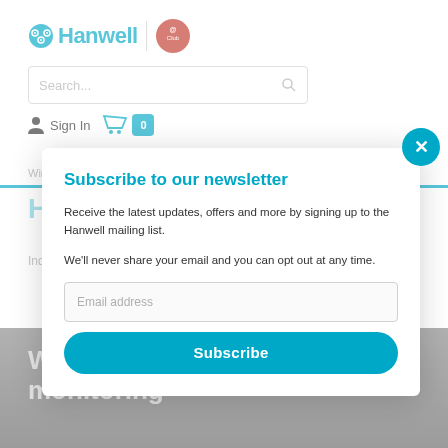[Figure (logo): Hanwell logo with teal icon and text, plus a red circular club badge]
Search...
Sign In
0
Wireless Systems   Data Loggers   All Products   Case
HanwellIoeSpy
Industry Ready
Subscribe to our newsletter
Receive the latest updates, offers and more by signing up to the Hanwell mailing list.
We'll never share your email and you can opt out at any time.
Email address
Subscribe
Wireless temperature monitoring